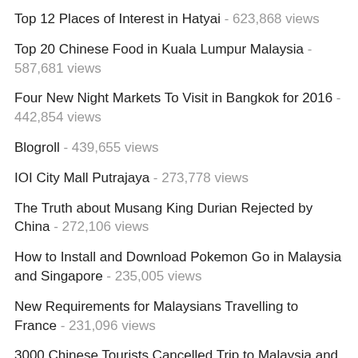Top 12 Places of Interest in Hatyai - 623,868 views
Top 20 Chinese Food in Kuala Lumpur Malaysia - 587,681 views
Four New Night Markets To Visit in Bangkok for 2016 - 442,854 views
Blogroll - 439,655 views
IOI City Mall Putrajaya - 273,778 views
The Truth about Musang King Durian Rejected by China - 272,106 views
How to Install and Download Pokemon Go in Malaysia and Singapore - 235,005 views
New Requirements for Malaysians Travelling to France - 231,096 views
3000 Chinese Tourists Cancelled Trip to Malaysia and Visit Thailand Due to New Tourism Tax - 205,684 views
YOU MAY HAVE MISSED